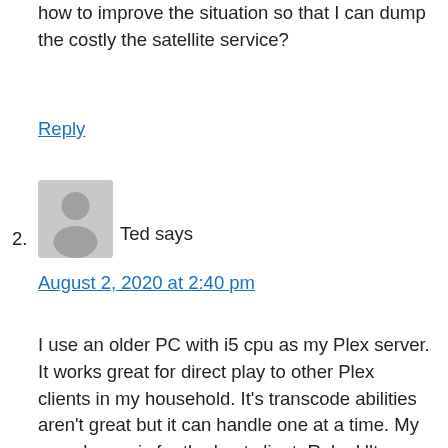how to improve the situation so that I can dump the costly the satellite service?
Reply
2. Ted says
August 2, 2020 at 2:40 pm
I use an older PC with i5 cpu as my Plex server. It works great for direct play to other Plex clients in my household. It's transcode abilities aren't great but it can handle one at a time. My search now is for the best client. Roku Ultra works well except for its poor ability to fast forward through recorded programs. It buffers a LOT when I attempt this. Otherwise its very capable. My 2018 Sony TV (Android) is a little better in this regard. I have tried the Nvidia Shield Pro (Android) and it works really well in this regard but I